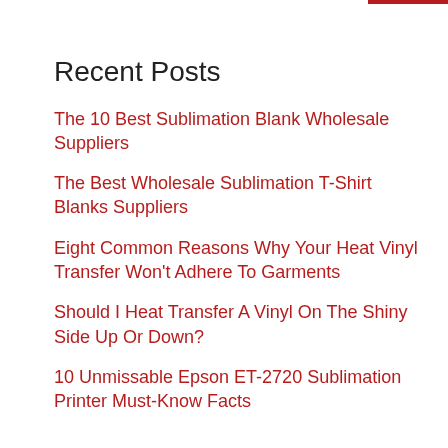Recent Posts
The 10 Best Sublimation Blank Wholesale Suppliers
The Best Wholesale Sublimation T-Shirt Blanks Suppliers
Eight Common Reasons Why Your Heat Vinyl Transfer Won't Adhere To Garments
Should I Heat Transfer A Vinyl On The Shiny Side Up Or Down?
10 Unmissable Epson ET-2720 Sublimation Printer Must-Know Facts